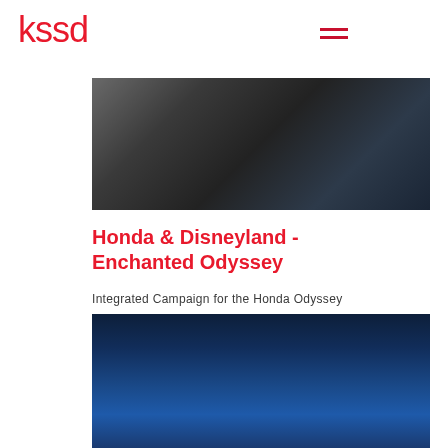kssd
[Figure (photo): Interior shot of a vehicle showing passengers seated, with grey and dark blue upholstery visible, dark moody lighting.]
Honda & Disneyland - Enchanted Odyssey
Integrated Campaign for the Honda Odyssey
[Figure (photo): Dark blue gradient background, appears to be the beginning of a second photo related to the Honda Odyssey campaign.]